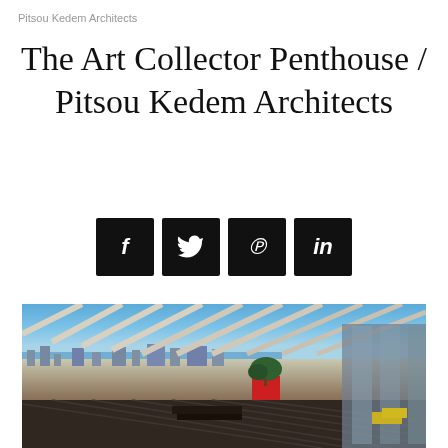Pitsou Kedem Architects
The Art Collector Penthouse / Pitsou Kedem Architects
[Figure (infographic): Four social media share buttons in black squares: Facebook (f), Twitter (bird icon), Pinterest (p), LinkedIn (in)]
[Figure (photo): Rooftop penthouse terrace with white louvered pergola overhead, overlooking Tel Aviv cityscape and Mediterranean Sea. Red planter with bonsai tree, dark outdoor furniture, glass facade of building visible on right.]